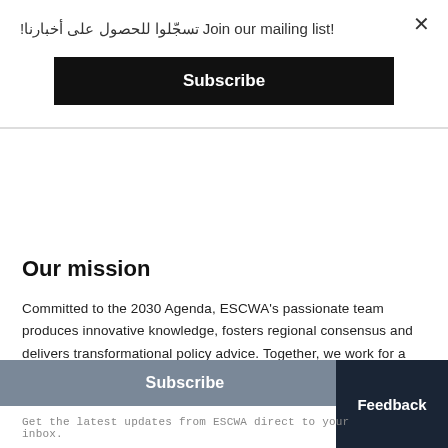تسجّلوا للحصول على أخبارنا! Join our mailing list!
Subscribe
Our mission
Committed to the 2030 Agenda, ESCWA's passionate team produces innovative knowledge, fosters regional consensus and delivers transformational policy advice. Together, we work for a sustainable future for all.
Subscribe
Feedback
Get the latest updates from ESCWA direct to your inbox.